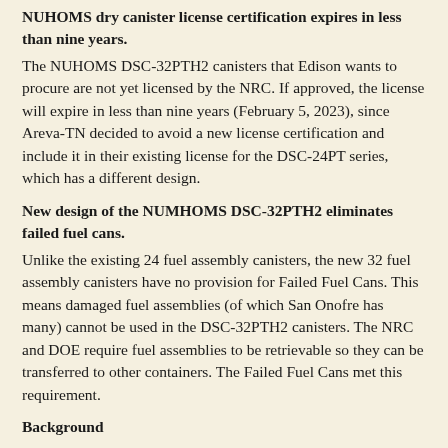NUHOMS dry canister license certification expires in less than nine years.
The NUHOMS DSC-32PTH2 canisters that Edison wants to procure are not yet licensed by the NRC. If approved, the license will expire in less than nine years (February 5, 2023), since Areva-TN decided to avoid a new license certification and include it in their existing license for the DSC-24PT series, which has a different design.
New design of the NUMHOMS DSC-32PTH2 eliminates failed fuel cans.
Unlike the existing 24 fuel assembly canisters, the new 32 fuel assembly canisters have no provision for Failed Fuel Cans. This means damaged fuel assemblies (of which San Onofre has many) cannot be used in the DSC-32PTH2 canisters. The NRC and DOE require fuel assemblies to be retrievable so they can be transferred to other containers. The Failed Fuel Cans met this requirement.
Background
On July 14th, 15th and August 5th the NRC had public meetings